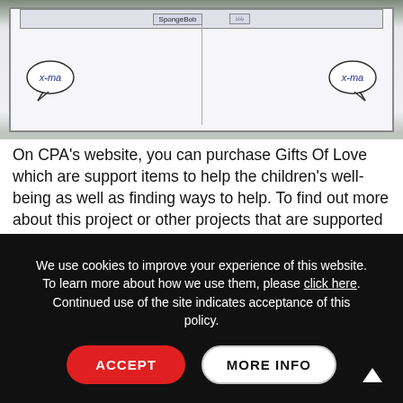[Figure (photo): A child's hand-drawn cartoon on white paper, showing characters with speech bubbles saying 'x-mas' on both left and right sides. The drawing appears to be a Christmas-themed children's artwork with simple figures.]
On CPA's website, you can purchase Gifts Of Love which are support items to help the children's well-being as well as finding ways to help. To find out more about this project or other projects that are supported by CPA or to make any kind of donation please visit https://www.cpafrica.org.uk/ or call 01522 846934.
We use cookies to improve your experience of this website. To learn more about how we use them, please click here. Continued use of the site indicates acceptance of this policy.